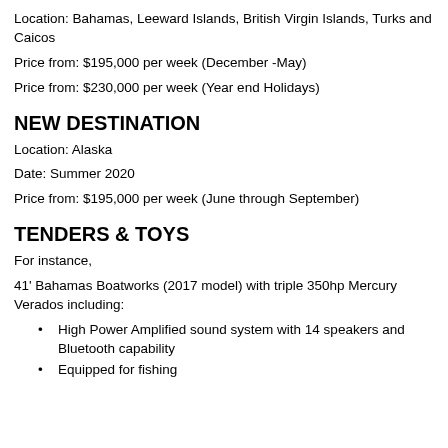Location:  Bahamas, Leeward Islands, British Virgin Islands, Turks and Caicos
Price from: $195,000 per week (December -May)
Price from:  $230,000 per week (Year end Holidays)
NEW DESTINATION
Location:  Alaska
Date:  Summer 2020
Price from: $195,000 per week (June through September)
TENDERS & TOYS
For instance,
41' Bahamas Boatworks (2017 model) with triple 350hp Mercury Verados including:
High Power Amplified sound system with 14 speakers and Bluetooth capability
Equipped for fishing